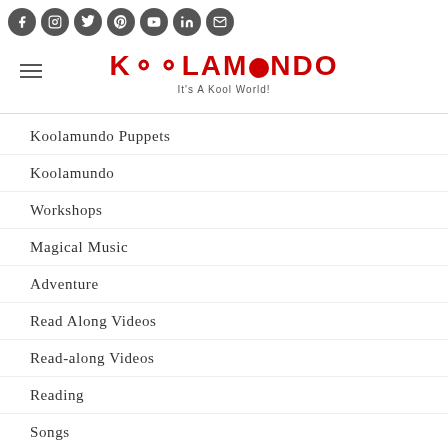Koolamundo - It's A Kool World!
Koolamundo Puppets
Koolamundo
Workshops
Magical Music
Adventure
Read Along Videos
Read-along Videos
Reading
Songs
Toddlers Books
Welcome To My Blog